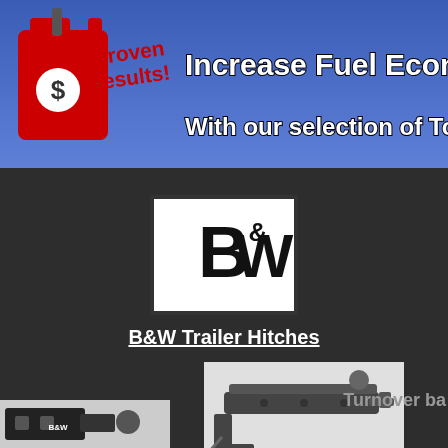[Figure (illustration): Banner advertisement with gas can and text: Increase Fuel Economy / With our selection of Tonn... Proven Results! $]
[Figure (logo): B&W logo in black and white box with border]
B&W Trailer Hitches
[Figure (photo): Turnover ball gooseneck hitch product image]
Turnover ba
[Figure (photo): B&W trailer hitch ball mount product image]